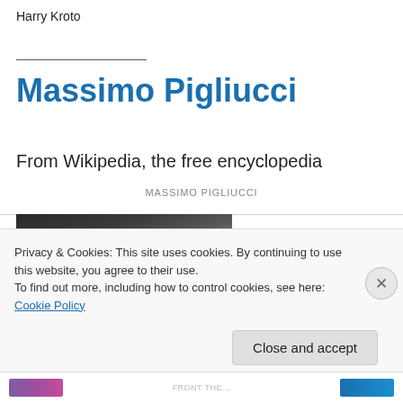Harry Kroto
Massimo Pigliucci
From Wikipedia, the free encyclopedia
MASSIMO PIGLIUCCI
[Figure (photo): Partial photo of Massimo Pigliucci, dark background with hands visible]
Privacy & Cookies: This site uses cookies. By continuing to use this website, you agree to their use.
To find out more, including how to control cookies, see here: Cookie Policy
Close and accept